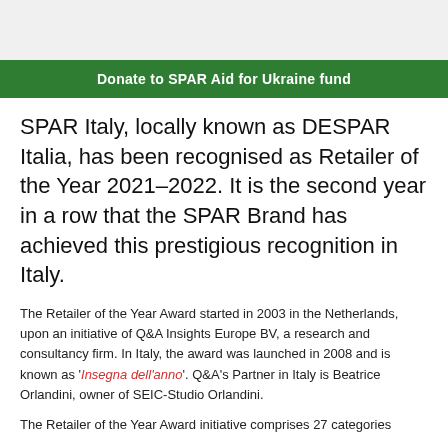Donate to SPAR Aid for Ukraine fund
SPAR Italy, locally known as DESPAR Italia, has been recognised as Retailer of the Year 2021–2022. It is the second year in a row that the SPAR Brand has achieved this prestigious recognition in Italy.
The Retailer of the Year Award started in 2003 in the Netherlands, upon an initiative of Q&A Insights Europe BV, a research and consultancy firm. In Italy, the award was launched in 2008 and is known as 'Insegna dell'anno'. Q&A's Partner in Italy is Beatrice Orlandini, owner of SEIC-Studio Orlandini.
The Retailer of the Year Award initiative comprises 27 categories